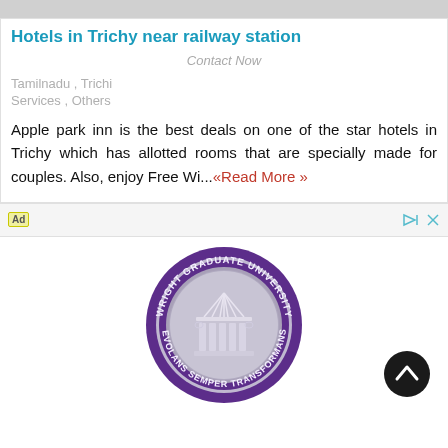[Figure (other): Gray horizontal bar at top of listing]
Hotels in Trichy near railway station
Contact Now
Tamilnadu , Trichi
Services , Others
Apple park inn is the best deals on one of the star hotels in Trichy which has allotted rooms that are specially made for couples. Also, enjoy Free Wi...«Read More »
[Figure (logo): Wright Graduate University circular seal logo with text WRIGHT GRADUATE UNIVERSITY and EVOLANS SEMPER TRANSFORMANS, purple border with gray emblem]
[Figure (other): Dark circular scroll-to-top button with upward chevron arrow]